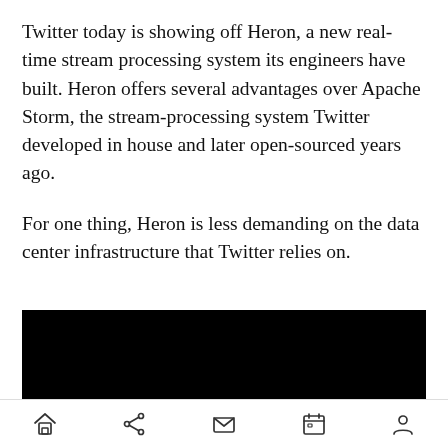Twitter today is showing off Heron, a new real-time stream processing system its engineers have built. Heron offers several advantages over Apache Storm, the stream-processing system Twitter developed in house and later open-sourced years ago.
For one thing, Heron is less demanding on the data center infrastructure that Twitter relies on.
[Figure (photo): Black rectangle representing a video or image embed]
Navigation bar with home, share, mail, calendar, and profile icons